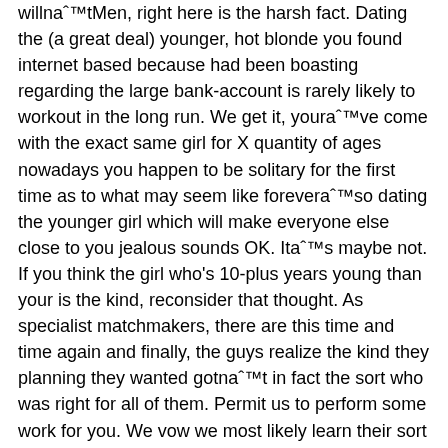willnaˆ™tMen, right here is the harsh fact. Dating the (a great deal) younger, hot blonde you found internet based because had been boasting regarding the large bank-account is rarely likely to workout in the long run. We get it, youraˆ™ve come with the exact same girl for X quantity of ages nowadays you happen to be solitary for the first time as to what may seem like foreveraˆ™so dating the younger girl which will make everyone else close to you jealous sounds OK. Itaˆ™s maybe not. If you think the girl who's 10-plus years young than your is the kind, reconsider that thought. As specialist matchmakers, there are this time and time again and finally, the guys realize the kind they planning they wanted gotnaˆ™t in fact the sort who was right for all of them. Permit us to perform some work for you. We vow we most likely learn their sort a lot better than your.
Females: the aˆ?cougaraˆ? attraction merely persists way too long. Dating a younger man who is active and adventure looks fantastic, however the the reality is that anybody who is actually 10 or higher many years young than you is sometimes in a significantly various destination psychologically and mentally than you're. Donaˆ™t forget to date someone your age or somewhat elderly, youraˆ™ll a bit surpised by what